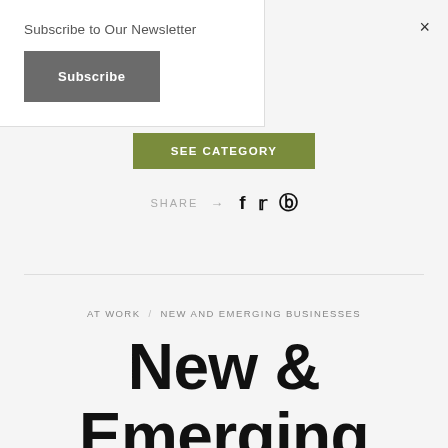Subscribe to Our Newsletter
Subscribe
×
SEE CATEGORY
SHARE → f 𝕥 𝕡
AT WORK / NEW AND EMERGING BUSINESSES
New & Emerging Businesses